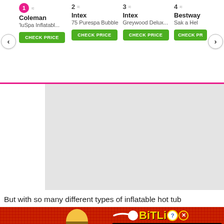[Figure (screenshot): Product comparison bar with 4 ranked products: 1) Coleman luSpa Inflatab..., 2) Intex 75 Purespa Bubble, 3) Intex Greywood Delux..., 4) Bestway Sak...n Hel... Each with CHECK PRICE button. Navigation arrows on left and right.]
[Figure (other): Gray placeholder rectangle for an image/ad]
But with so many different types of inflatable hot tub
[Figure (screenshot): BitLife advertisement banner with FAIL text, animated character, fire, and START A NEW LIFE text]